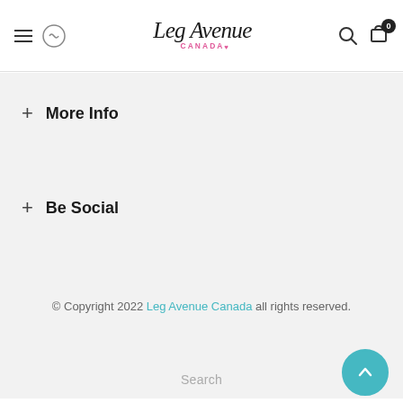Leg Avenue Canada — site header with navigation, logo, search, and cart
+ More Info
+ Be Social
© Copyright 2022 Leg Avenue Canada all rights reserved.
Search